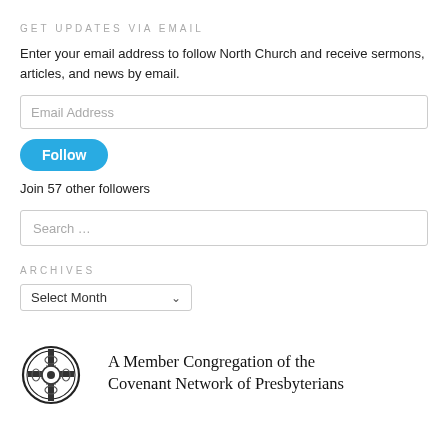GET UPDATES VIA EMAIL
Enter your email address to follow North Church and receive sermons, articles, and news by email.
Email Address
Follow
Join 57 other followers
Search …
ARCHIVES
Select Month
[Figure (logo): Decorative Celtic/Norse knot cross logo emblem, black on white]
A Member Congregation of the Covenant Network of Presbyterians